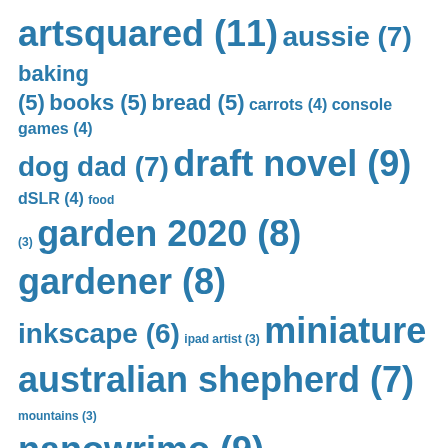[Figure (infographic): Tag cloud showing blog/content tags with counts in parentheses. Tags sized by frequency. Color: teal/blue. Tags include: artsquared (11), aussie (7), baking (5), books (5), bread (5), carrots (4), console games (4), dog dad (7), draft novel (9), dSLR (4), food (3), garden 2020 (8), gardener (8), inkscape (6), ipad artist (3), miniature australian shepherd (7), mountains (3), nanowrimo (9), neglected games (3), nourishment (3), novel (10), pandemic (9), pandemic sourdough (5), pc games (3), photographing nature (4), playstation 5 (3), pupdate (7), puppy (7), rain rain (3).]